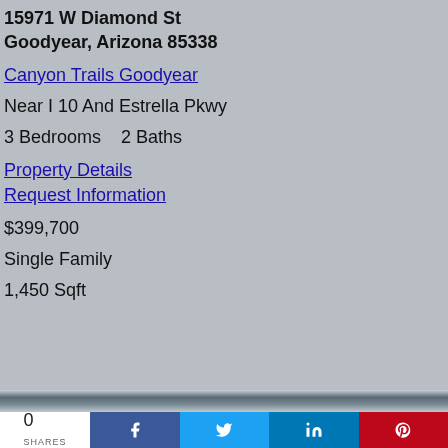15971 W Diamond St
Goodyear, Arizona 85338
Canyon Trails Goodyear
Near I 10 And Estrella Pkwy
3 Bedrooms   2 Baths
Property Details
Request Information
$399,700
Single Family
1,450 Sqft
0
SHARES